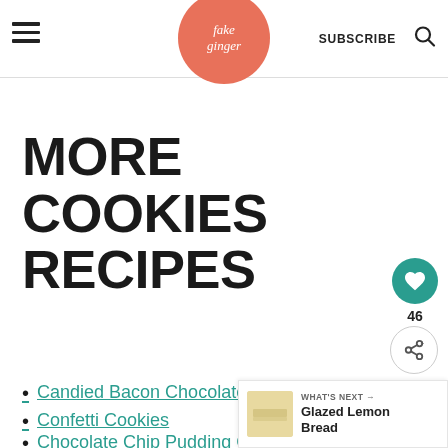fake ginger — SUBSCRIBE (search icon)
MORE COOKIES RECIPES
Candied Bacon Chocolate Chip...
Confetti Cookies
Chocolate Chip Pudding Cookies